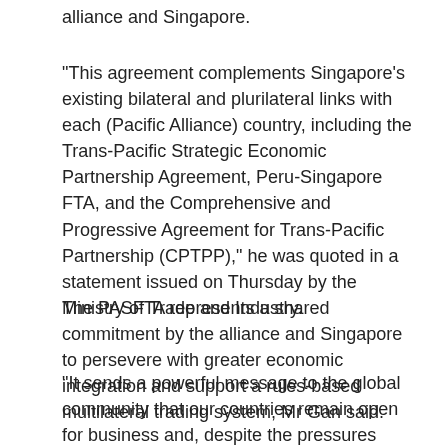alliance and Singapore.
"This agreement complements Singapore's existing bilateral and plurilateral links with each (Pacific Alliance) country, including the Trans-Pacific Strategic Economic Partnership Agreement, Peru-Singapore FTA, and the Comprehensive and Progressive Agreement for Trans-Pacific Partnership (CPTPP)," he was quoted in a statement issued on Thursday by the Ministry of Trade and Industry.
The PASFTA represents a shared commitment by the alliance and Singapore to persevere with greater economic integration and support a rules-based multilateral trading system, Mr Gan said.
"It sends a powerful message to the global community that our countries remain open for business and, despite the pressures placed on economic multilateralism, we want to reach out to one another and create more opportunities for our people."